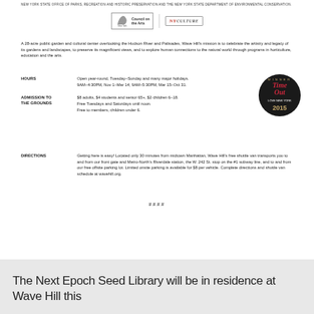NEW YORK STATE OFFICE OF PARKS, RECREATION AND HISTORIC PRESERVATION AND THE NEW YORK STATE DEPARTMENT OF ENVIRONMENTAL CONSERVATION.
[Figure (logo): New York State Council on the Arts logo and NYCulture logo side by side]
A 28-acre public garden and cultural center overlooking the Hudson River and Palisades, Wave Hill's mission is to celebrate the artistry and legacy of its gardens and landscapes, to preserve its magnificent views, and to explore human connections to the natural world through programs in horticulture, education and the arts.
HOURS
Open year-round, Tuesday–Sunday and many major holidays. 9AM–4:30PM, Nov 1–Mar 14; 9AM–5:30PM, Mar 15–Oct 31.
ADMISSION TO THE GROUNDS
$8 adults, $4 students and senior 65+, $2 children 6–18. Free Tuesdays and Saturdays until noon. Free to members, children under 6.
DIRECTIONS
Getting here is easy! Located only 30 minutes from midtown Manhattan, Wave Hill's free shuttle van transports you to and from our front gate and Metro-North's Riverdale station, the W. 242 St. stop on the #1 subway line, and to and from our free offsite parking lot. Limited onsite parking is available for $8 per vehicle. Complete directions and shuttle van schedule at wavehill.org.
####
The Next Epoch Seed Library will be in residence at Wave Hill this